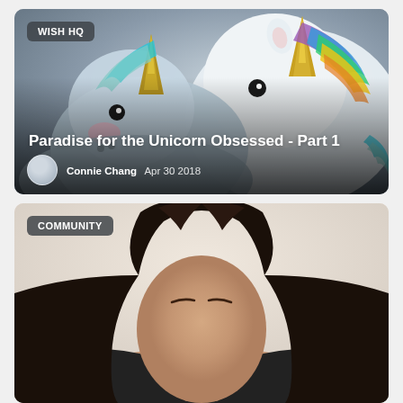[Figure (photo): Top card showing unicorn stuffed animal slippers with a gray background. White and gray unicorn heads with gold horns, colorful rainbow manes. Badge overlay reading WISH HQ.]
Paradise for the Unicorn Obsessed - Part 1
Connie Chang   Apr 30 2018
[Figure (photo): Bottom card showing a woman with long dark hair against a light background. Badge overlay reading COMMUNITY.]